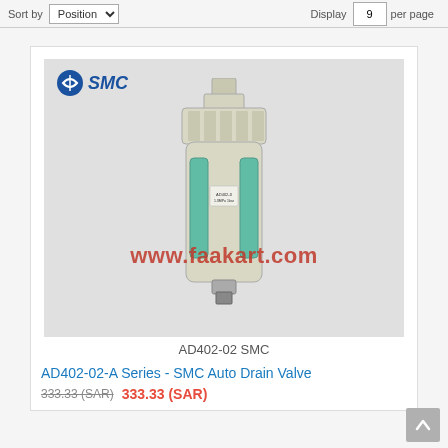Sort by Position | Display | 9 | per page
[Figure (photo): SMC AD402-02 Auto Drain Valve product photo. A cylindrical pneumatic auto drain valve with beige/cream colored body, green transparent sight windows on the sides, threaded connections at top and bottom, and an SMC label. The SMC logo appears in the upper left of the image. A watermark reading 'www.faakart.com' is overlaid on the image.]
AD402-02 SMC
AD402-02-A Series - SMC Auto Drain Valve
price row with old price and new price in red (SAR)